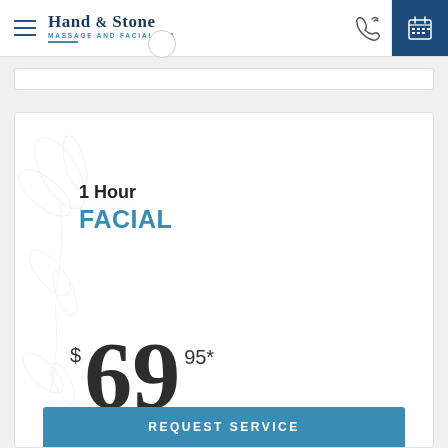Hand & Stone Massage and Facial Spa – navigation bar
1 Hour FACIAL
$69.95*
REQUEST SERVICE